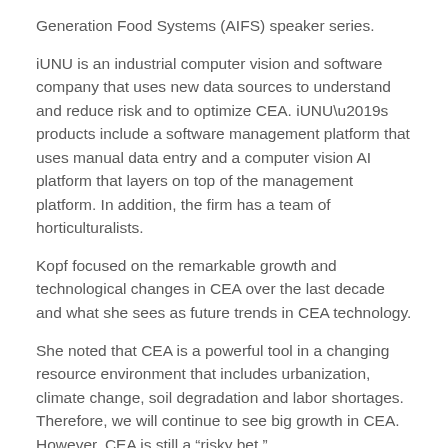Generation Food Systems (AIFS) speaker series.
iUNU is an industrial computer vision and software company that uses new data sources to understand and reduce risk and to optimize CEA. iUNU’s products include a software management platform that uses manual data entry and a computer vision AI platform that layers on top of the management platform. In addition, the firm has a team of horticulturalists.
Kopf focused on the remarkable growth and technological changes in CEA over the last decade and what she sees as future trends in CEA technology.
She noted that CEA is a powerful tool in a changing resource environment that includes urbanization, climate change, soil degradation and labor shortages.  Therefore, we will continue to see big growth in CEA.  However, CEA is still a “risky bet.”
Kopf discussed the “sea change” in CEA in the US, breaking it down into 5 phases, starting about 40 years ago.  The first phase involved a few family-owned greenhouse businesses.